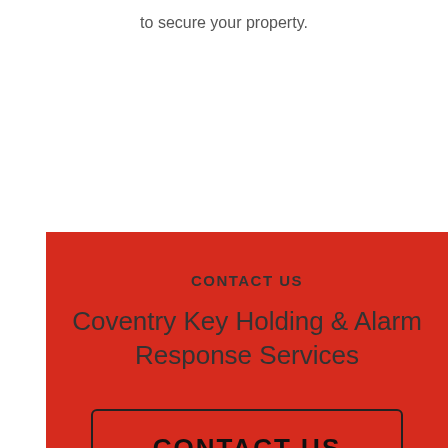to secure your property.
CONTACT US
Coventry Key Holding & Alarm Response Services
CONTACT US